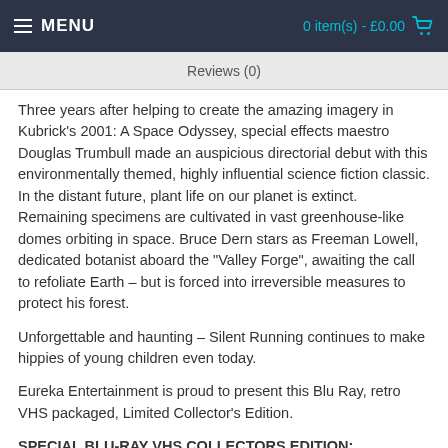MENU    0 item(s) - £0.00
Reviews (0)
Three years after helping to create the amazing imagery in Kubrick's 2001: A Space Odyssey, special effects maestro Douglas Trumbull made an auspicious directorial debut with this environmentally themed, highly influential science fiction classic.
In the distant future, plant life on our planet is extinct. Remaining specimens are cultivated in vast greenhouse-like domes orbiting in space. Bruce Dern stars as Freeman Lowell, dedicated botanist aboard the "Valley Forge", awaiting the call to refoliate Earth – but is forced into irreversible measures to protect his forest.
Unforgettable and haunting – Silent Running continues to make hippies of young children even today.
Eureka Entertainment is proud to present this Blu Ray, retro VHS packaged, Limited Collector's Edition.
SPECIAL BLU-RAY VHS COLLECTORS EDITION: